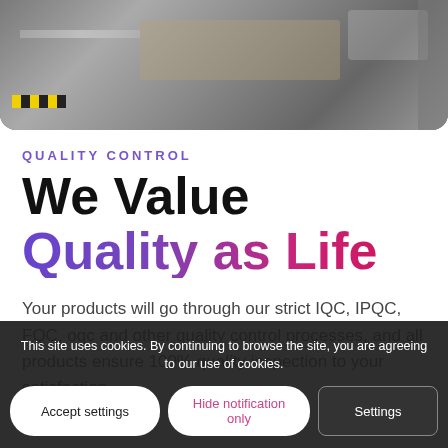[Figure (photo): Top portion of a warehouse/factory floor with equipment, boxes, and yellow-black hazard striping on the floor]
QUALITY CONTROL
We Value Quality as Life
Your products will go through our strict IQC, IPQC, FQC, oqc and other quality control processes, and all products ensure 100% quality inspection to your satisfaction
This site uses cookies. By continuing to browse the site, you are agreeing to our use of cookies.